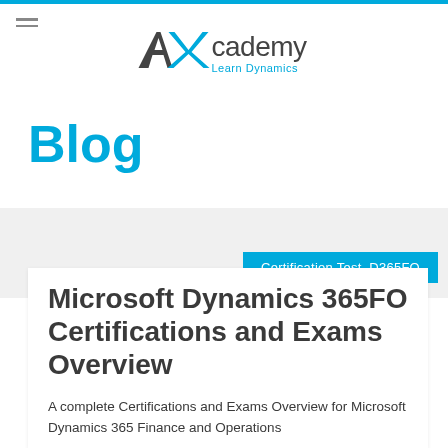[Figure (logo): AXcademy Learn Dynamics logo with stylized AX letters in dark gray and blue, and tagline 'Learn Dynamics' in blue]
Blog
Certification Test, D365FO
Microsoft Dynamics 365FO Certifications and Exams Overview
A complete Certifications and Exams Overview for Microsoft Dynamics 365 Finance and Operations